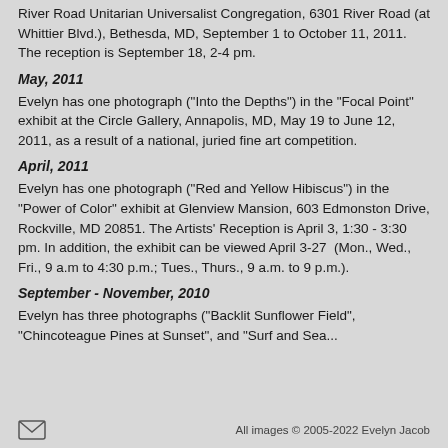River Road Unitarian Universalist Congregation, 6301 River Road (at Whittier Blvd.), Bethesda, MD, September 1 to October 11, 2011. The reception is September 18, 2-4 pm.
May, 2011
Evelyn has one photograph ("Into the Depths") in the "Focal Point" exhibit at the Circle Gallery, Annapolis, MD, May 19 to June 12, 2011, as a result of a national, juried fine art competition.
April, 2011
Evelyn has one photograph ("Red and Yellow Hibiscus") in the "Power of Color" exhibit at Glenview Mansion, 603 Edmonston Drive, Rockville, MD 20851. The Artists' Reception is April 3, 1:30 - 3:30 pm. In addition, the exhibit can be viewed April 3-27  (Mon., Wed., Fri., 9 a.m to 4:30 p.m.; Tues., Thurs., 9 a.m. to 9 p.m.).
September - November, 2010
Evelyn has three photographs ("Backlit Sunflower Field", "Chincoteague Pines at Sunset", and "Surf and Sea...
All images © 2005-2022 Evelyn Jacob